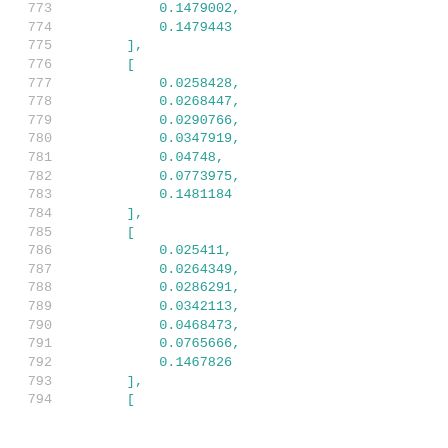773: 0.1479002,
774:     0.1479443
775: ],
776: [
777:     0.0258428,
778:     0.0268447,
779:     0.0290766,
780:     0.0347919,
781:     0.04748,
782:     0.0773975,
783:     0.1481184
784: ],
785: [
786:     0.025411,
787:     0.0264349,
788:     0.0286291,
789:     0.0342113,
790:     0.0468473,
791:     0.0765666,
792:     0.1467826
793: ],
794: [